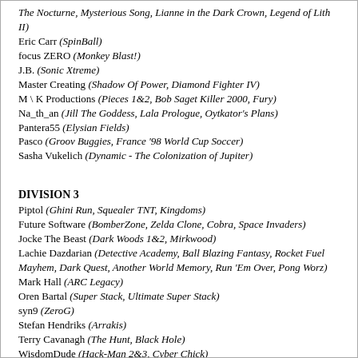The Nocturne, Mysterious Song, Lianne in the Dark Crown, Legend of Lith II)
Eric Carr (SpinBall)
focus ZERO (Monkey Blast!)
J.B. (Sonic Xtreme)
Master Creating (Shadow Of Power, Diamond Fighter IV)
M \ K Productions (Pieces 1&2, Bob Saget Killer 2000, Fury)
Na_th_an (Jill The Goddess, Lala Prologue, Oytkator's Plans)
Pantera55 (Elysian Fields)
Pasco (Groov Buggies, France '98 World Cup Soccer)
Sasha Vukelich (Dynamic - The Colonization of Jupiter)
DIVISION 3
Piptol (Ghini Run, Squealer TNT, Kingdoms)
Future Software (BomberZone, Zelda Clone, Cobra, Space Invaders)
Jocke The Beast (Dark Woods 1&2, Mirkwood)
Lachie Dazdarian (Detective Academy, Ball Blazing Fantasy, Rocket Fuel Mayhem, Dark Quest, Another World Memory, Run 'Em Over, Pong Worz)
Mark Hall (ARC Legacy)
Oren Bartal (Super Stack, Ultimate Super Stack)
syn9 (ZeroG)
Stefan Hendriks (Arrakis)
Terry Cavanagh (The Hunt, Black Hole)
WisdomDude (Hack-Man 2&3, Cyber Chick)